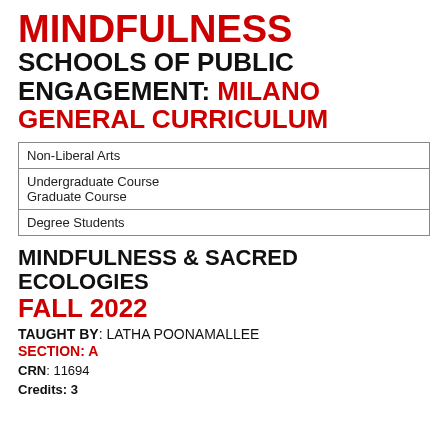MINDFULNESS SCHOOLS OF PUBLIC ENGAGEMENT: MILANO GENERAL CURRICULUM
| Non-Liberal Arts |
| Undergraduate Course
Graduate Course |
| Degree Students |
MINDFULNESS & SACRED ECOLOGIES
FALL 2022
TAUGHT BY: LATHA POONAMALLEE
SECTION: A
CRN: 11694
Credits: 3